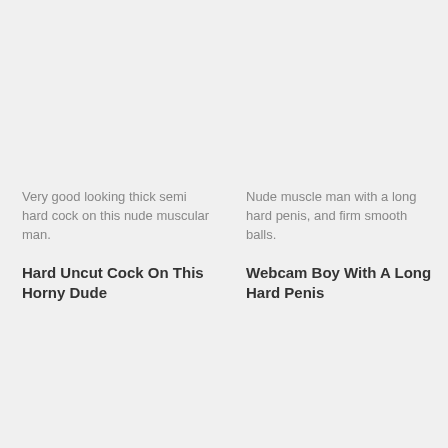Very good looking thick semi hard cock on this nude muscular man.
Hard Uncut Cock On This Horny Dude
Nude muscle man with a long hard penis, and firm smooth balls.
Webcam Boy With A Long Hard Penis